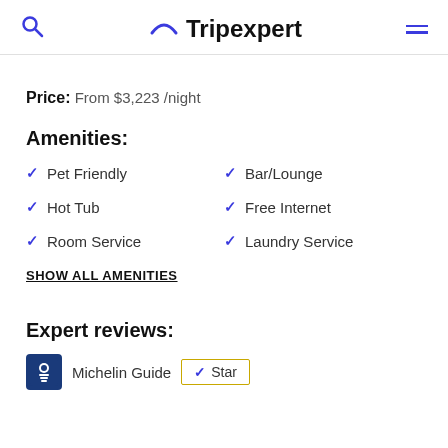Tripexpert
Price: From $3,223 /night
Amenities:
Pet Friendly
Bar/Lounge
Hot Tub
Free Internet
Room Service
Laundry Service
SHOW ALL AMENITIES
Expert reviews:
Michelin Guide  ✓ Star